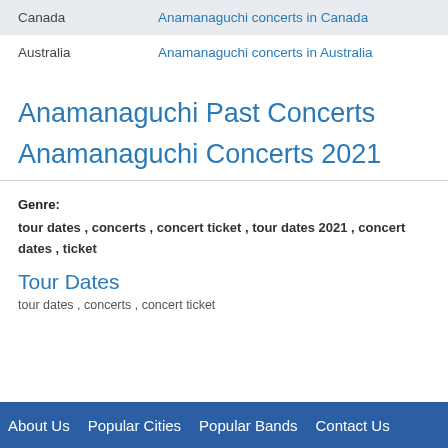| Canada | Anamanaguchi concerts in Canada |
| Australia | Anamanaguchi concerts in Australia |
Anamanaguchi Past Concerts
Anamanaguchi Concerts 2021
Genre:
tour dates, concerts, concert ticket, tour dates 2021, concert dates, ticket
Tour Dates
tour dates , concerts , concert ticket
About Us   Popular Cities   Popular Bands   Contact Us